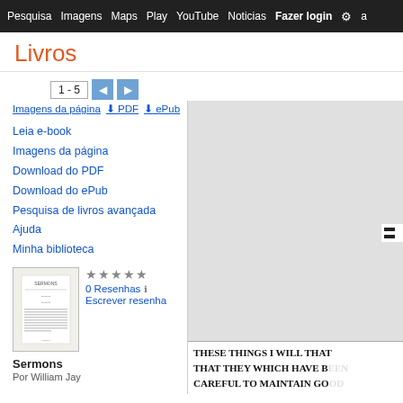Pesquisa  Imagens  Maps  Play  YouTube  Noticias  Fazer login  a
Livros
1 - 5
Imagens da página  ⬇ PDF  ⬇ ePub
Leia e-book
Imagens da página
Download do PDF
Download do ePub
Pesquisa de livros avançada
Ajuda
Minha biblioteca
[Figure (illustration): Thumbnail of book cover for Sermons by William Jay]
★★★★★
0 Resenhas ℹ
Escrever resenha
Sermons
Por William Jay
[Figure (screenshot): Greyed out page preview of book content showing text: THESE THINGS I WILL THAT THEY WHICH HAVE B... CAREFUL TO MAINTAIN GO...]